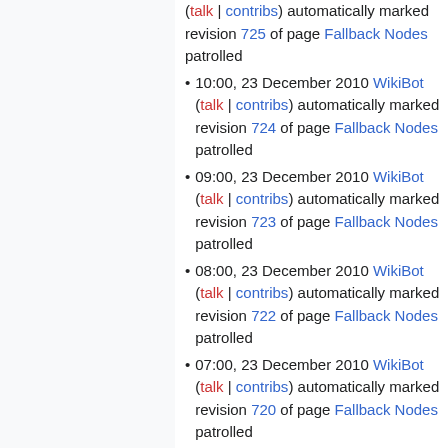(talk | contribs) automatically marked revision 725 of page Fallback Nodes patrolled
10:00, 23 December 2010 WikiBot (talk | contribs) automatically marked revision 724 of page Fallback Nodes patrolled
09:00, 23 December 2010 WikiBot (talk | contribs) automatically marked revision 723 of page Fallback Nodes patrolled
08:00, 23 December 2010 WikiBot (talk | contribs) automatically marked revision 722 of page Fallback Nodes patrolled
07:00, 23 December 2010 WikiBot (talk | contribs) automatically marked revision 720 of page Fallback Nodes patrolled
06:00, 23 December 2010 WikiBot